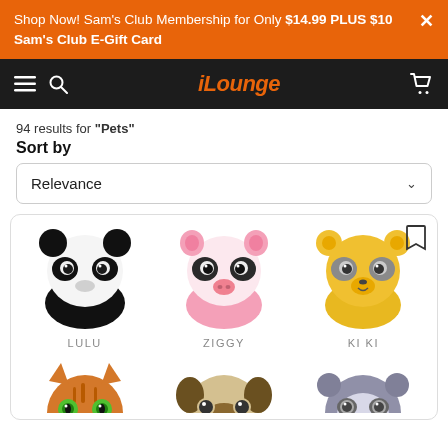Shop Now! Sam's Club Membership for Only $14.99 PLUS $10 Sam's Club E-Gift Card
iLounge
94 results for "Pets"
Sort by
Relevance
[Figure (photo): Three animal-shaped Bluetooth speakers (Lulu panda - black/white, Ziggy pig - pink, Ki Ki bear - yellow) displayed in a product card. Below them: partial view of three more animal speakers (orange/green cat, beige pug, grey raccoon).]